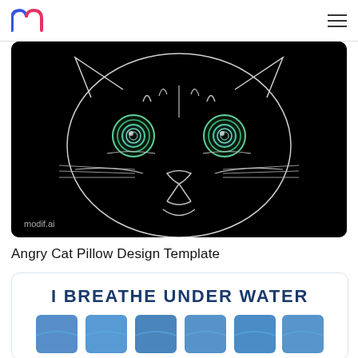modif.ai logo and navigation menu
[Figure (illustration): Black background illustration of an angry cat face drawn with white glowing lines, featuring glowing teal/green eyes with concentric colored rings. Bottom-left watermark reads 'modif.ai'.]
Angry Cat Pillow Design Template
[Figure (illustration): White card with dark blue bold text reading 'I BREATHE UNDER WATER' and below it partially visible large stylized blue wave/letter shapes.]